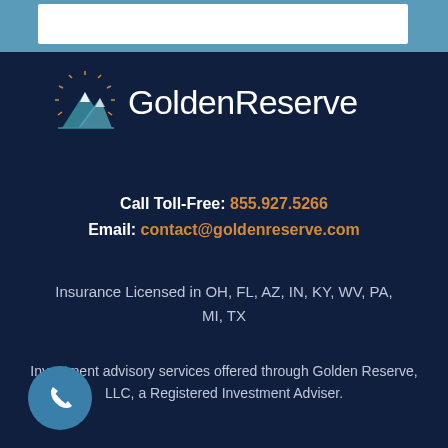[Figure (logo): Golden Reserve logo with mountain/sun rays icon and text 'GoldenReserve']
Call Toll-Free: 855.927.5266
Email: contact@goldenreserve.com
Insurance Licensed in OH, FL, AZ, IN, KY, WV, PA, MI, TX
Investment advisory services offered through Golden Reserve, LLC, a Registered Investment Adviser.